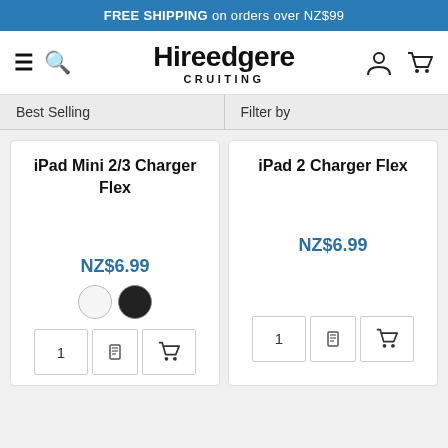FREE SHIPPING on orders over NZ$99
[Figure (screenshot): Navigation bar with hamburger menu, search icon, Hireedgere Cruiting logo, person icon, and cart icon]
Best Selling
Filter by
iPad Mini 2/3 Charger Flex
NZ$6.99
iPad 2 Charger Flex
NZ$6.99